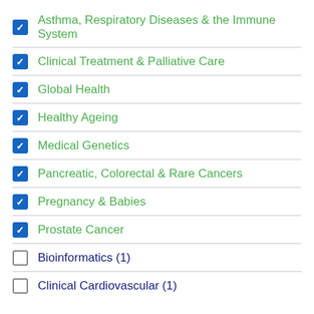Asthma, Respiratory Diseases & the Immune System
Clinical Treatment & Palliative Care
Global Health
Healthy Ageing
Medical Genetics
Pancreatic, Colorectal & Rare Cancers
Pregnancy & Babies
Prostate Cancer
Bioinformatics (1)
Clinical Cardiovascular (1)